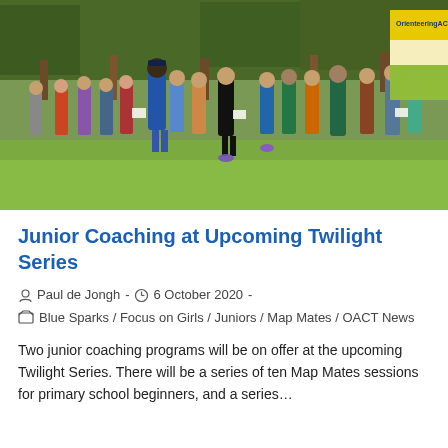[Figure (photo): Outdoor photo of a group of children and an adult coach on a grassy area with trees in the background. A yellow and white OrienteeringACT banner/flag is visible on the right. Children are holding papers/maps.]
Junior Coaching at Upcoming Twilight Series
Paul de Jongh · 6 October 2020 · Blue Sparks / Focus on Girls / Juniors / Map Mates / OACT News
Two junior coaching programs will be on offer at the upcoming Twilight Series. There will be a series of ten Map Mates sessions for primary school beginners, and a series…